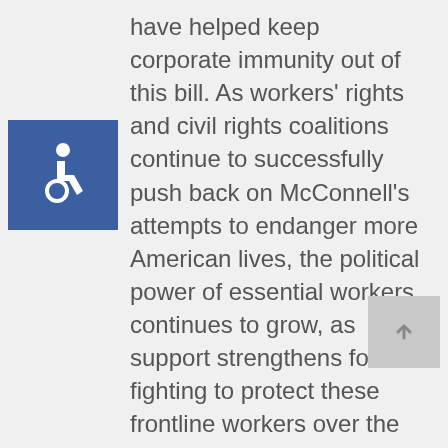[Figure (logo): Blue square with white wheelchair accessibility symbol (ISA icon)]
have helped keep corporate immunity out of this bill. As workers' rights and civil rights coalitions continue to successfully push back on McConnell's attempts to endanger more American lives, the political power of essential workers continues to grow, as support strengthens for fighting to protect these frontline workers over the profits of big corporations. It is essential that we must carry that momentum into the new year and urge the incoming Biden Administration to insist that any future, long-term relief bill abandon both corporate immunity and attempts to strip state's power to keep their
[Figure (other): Gray scroll-to-top button with upward arrow]